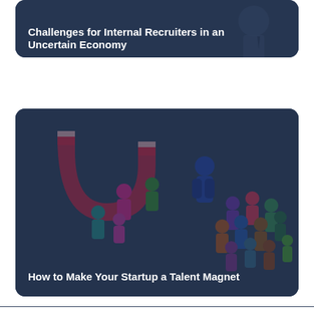[Figure (illustration): Card with dark blue overlay showing a business/recruitment scene. Title reads: Challenges for Internal Recruiters in an Uncertain Economy]
Challenges for Internal Recruiters in an Uncertain Economy
[Figure (illustration): Card with dark blue overlay showing a magnet attracting colorful 3D human figures representing talent attraction. Title reads: How to Make Your Startup a Talent Magnet]
How to Make Your Startup a Talent Magnet